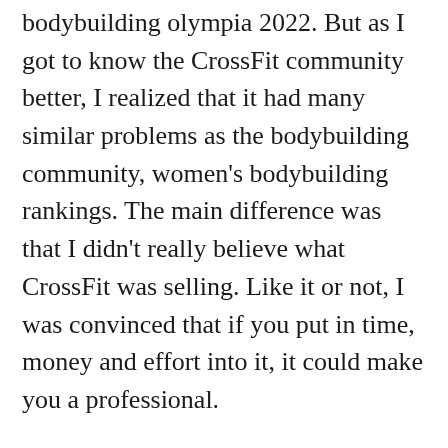bodybuilding olympia 2022. But as I got to know the CrossFit community better, I realized that it had many similar problems as the bodybuilding community, women's bodybuilding rankings. The main difference was that I didn't really believe what CrossFit was selling. Like it or not, I was convinced that if you put in time, money and effort into it, it could make you a professional.
At the end of my first year at university, I had a pretty good idea of the differences, and I knew I wanted to make my own personal fitness program with some help from family and friends, women's bodybuilding exercises. There were some basic principles that came through clearly enough. I thought that the core of a